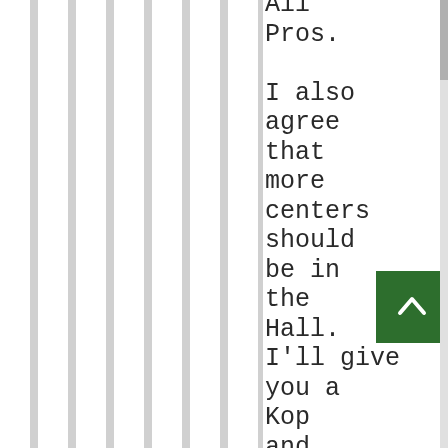All Pros. I also agree that more centers should be in the Hall. I'll give you a Kop and raise you a Mangold.
[Figure (other): Green back-to-top button with upward chevron arrow icon]